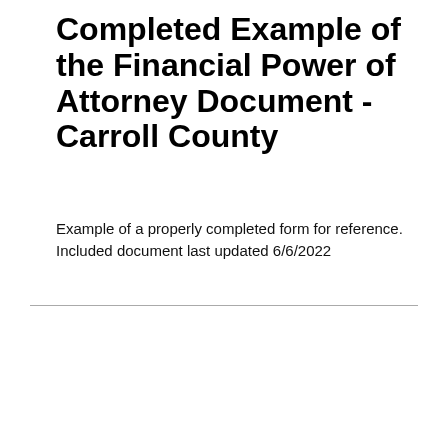Completed Example of the Financial Power of Attorney Document - Carroll County
Example of a properly completed form for reference.
Included document last updated 6/6/2022
[Figure (other): Thumbnail image of a Carroll County Financial Power of Attorney form document showing signature and acknowledgement section]